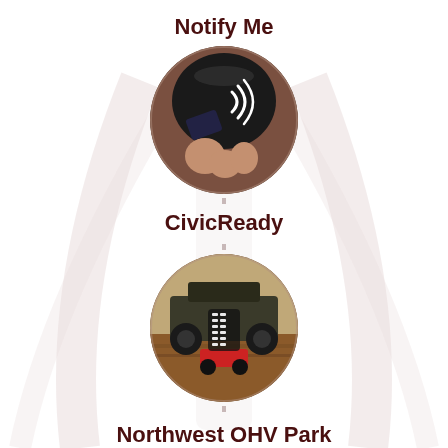Notify Me
[Figure (photo): Circular photo of a hand holding a card near an NFC/contactless payment terminal with a wireless signal icon]
CivicReady
[Figure (photo): Circular photo of off-road vehicles (OHV) on a dirt trail with a tire track icon overlay]
Northwest OHV Park